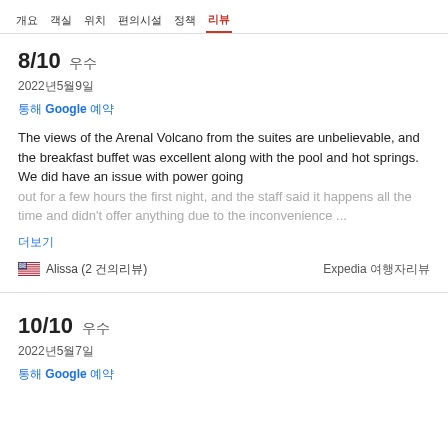개요  객실  위치  편의시설  정책  리뷰
8/10 우수
2022년5월9일
통해 Google 예약
The views of the Arenal Volcano from the suites are unbelievable, and the breakfast buffet was excellent along with the pool and hot springs. We did have an issue with power going out for a few hours the first night, and the staff said it happens all the time and didn't offer anything due to the inconvenience...
더보기
Alissa (2 건의리뷰)
Expedia 여행자리뷰
10/10 우수
2022년5월7일
통해 Google 예약